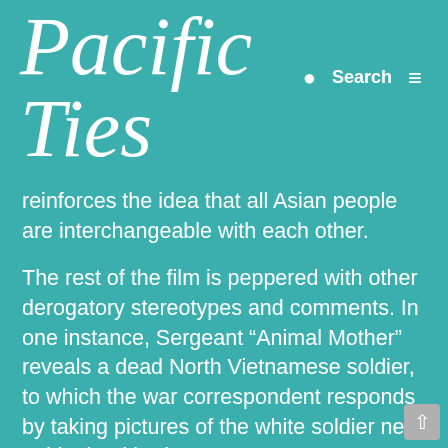Pacific Ties
reinforces the idea that all Asian people are interchangeable with each other.
The rest of the film is peppered with other derogatory stereotypes and comments. In one instance, Sergeant “Animal Mother” reveals a dead North Vietnamese soldier, to which the war correspondent responds by taking pictures of the white soldier next to his dead body.
In interviews with the news crew, the soldiers say, “We’re supposed to be helping these people and they keep shitting on us.” There is no hesitation to throw around the racial slur that starts with a “g.” Another soldier conflates all the Vietnamese soldiers into one group: “I’m not real